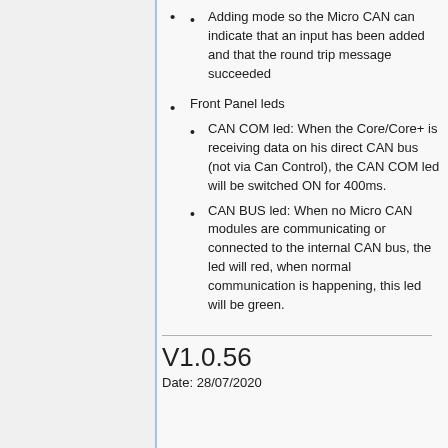Adding mode so the Micro CAN can indicate that an input has been added and that the round trip message succeeded
Front Panel leds
CAN COM led: When the Core/Core+ is receiving data on his direct CAN bus (not via Can Control), the CAN COM led will be switched ON for 400ms.
CAN BUS led: When no Micro CAN modules are communicating or connected to the internal CAN bus, the led will red, when normal communication is happening, this led will be green.
V1.0.56
Date: 28/07/2020